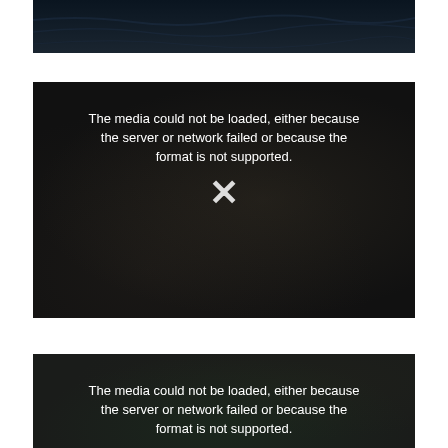[Figure (photo): Dark video player frame showing a body of water, top portion of page, media failed to load]
[Figure (photo): Video player with error message: 'The media could not be loaded, either because the server or network failed or because the format is not supported.' with X icon]
[Figure (photo): Second video player with error message: 'The media could not be loaded, either because the server or network failed or because the format is not supported.' with X icon, partially cut off at bottom]